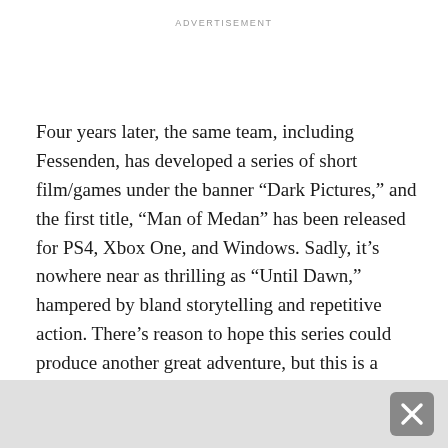ADVERTISEMENT
Four years later, the same team, including Fessenden, has developed a series of short film/games under the banner “Dark Pictures,” and the first title, “Man of Medan” has been released for PS4, Xbox One, and Windows. Sadly, it’s nowhere near as thrilling as “Until Dawn,” hampered by bland storytelling and repetitive action. There’s reason to hope this series could produce another great adventure, but this is a disappointment, a game that I kept wanting to fulfill its potential but that gets as lost as its characters.
“Man of Medan” is a ghost ship story inspired by the real